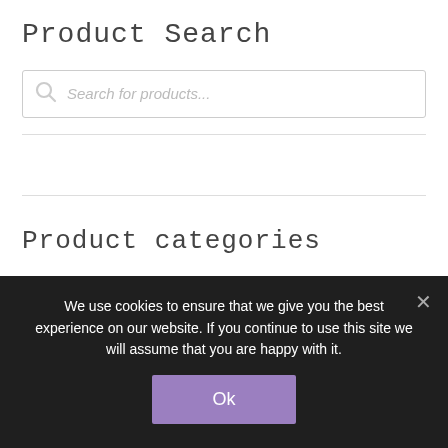Product Search
[Figure (screenshot): Search box with magnifying glass icon and placeholder text 'Search for products...']
Product categories
We use cookies to ensure that we give you the best experience on our website. If you continue to use this site we will assume that you are happy with it.